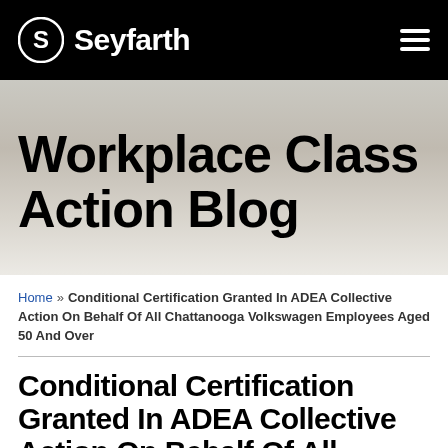Seyfarth
Workplace Class Action Blog
Home » Conditional Certification Granted In ADEA Collective Action On Behalf Of All Chattanooga Volkswagen Employees Aged 50 And Over
Conditional Certification Granted In ADEA Collective Action On Behalf Of All